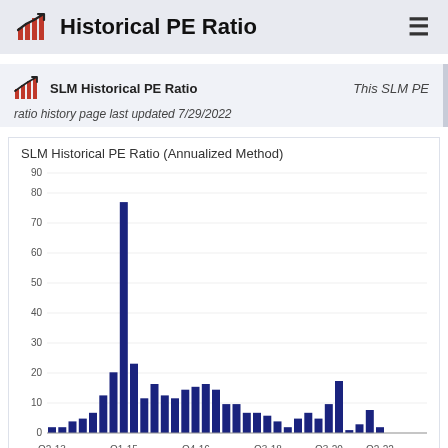Historical PE Ratio
SLM Historical PE Ratio   This SLM PE
ratio history page last updated 7/29/2022
[Figure (bar-chart): SLM Historical PE Ratio (Annualized Method)]